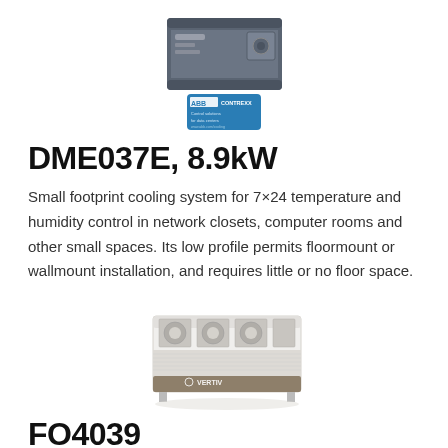[Figure (photo): Small wall-mount cooling unit device, rectangular grey box]
[Figure (logo): Blue badge/label with ABB or brand logo and text]
DME037E, 8.9kW
Small footprint cooling system for 7×24 temperature and humidity control in network closets, computer rooms and other small spaces. Its low profile permits floormount or wallmount installation, and requires little or no floor space.
[Figure (photo): Large white outdoor cooling/chiller unit, industrial air-cooled chiller]
FO4039